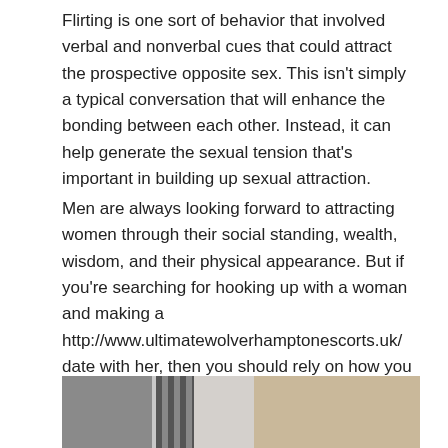Flirting is one sort of behavior that involved verbal and nonverbal cues that could attract the prospective opposite sex. This isn't simply a typical conversation that will enhance the bonding between each other. Instead, it can help generate the sexual tension that's important in building up sexual attraction.
Men are always looking forward to attracting women through their social standing, wealth, wisdom, and their physical appearance. But if you're searching for hooking up with a woman and making a http://www.ultimatewolverhamptonescorts.uk/ date with her, then you should rely on how you approach a girl, not the other things stated above. And hence, flirting is one of the very best weapons in generating good impressions and sexual care involving the opposite sex.
[Figure (photo): Partial photo showing a blonde woman and what appears to be a car interior on the left side, cropped at the bottom of the page.]